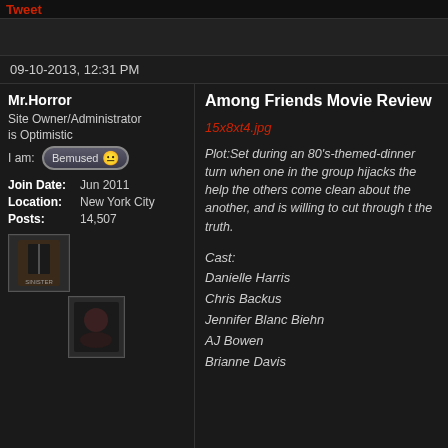Tweet
09-10-2013, 12:31 PM
Mr.Horror
Site Owner/Administrator
is Optimistic
I am: Bemused
Join Date: Jun 2011
Location: New York City
Posts: 14,507
[Figure (photo): Avatar image of a movie poster (Sinister-like)]
[Figure (photo): Secondary image - movie related graphic]
Among Friends Movie Review
15x8xt4.jpg
Plot:Set during an 80's-themed-dinner turn when one in the group hijacks the help the others come clean about the another, and is willing to cut through t the truth.
Cast:
Danielle Harris
Chris Backus
Jennifer Blanc Biehn
AJ Bowen
Brianne Davis